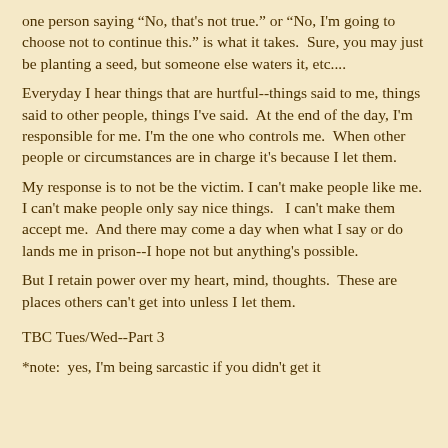one person saying "No, that's not true." or "No, I'm going to choose not to continue this." is what it takes.  Sure, you may just be planting a seed, but someone else waters it, etc....
Everyday I hear things that are hurtful--things said to me, things said to other people, things I've said.  At the end of the day, I'm responsible for me. I'm the one who controls me.  When other people or circumstances are in charge it's because I let them.
My response is to not be the victim. I can't make people like me. I can't make people only say nice things.   I can't make them accept me.  And there may come a day when what I say or do lands me in prison--I hope not but anything's possible.
But I retain power over my heart, mind, thoughts.  These are places others can't get into unless I let them.
TBC Tues/Wed--Part 3
*note:  yes, I'm being sarcastic if you didn't get it